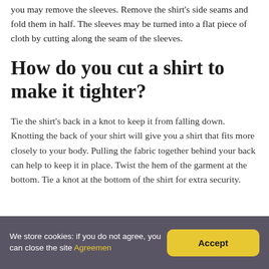you may remove the sleeves. Remove the shirt's side seams and fold them in half. The sleeves may be turned into a flat piece of cloth by cutting along the seam of the sleeves.
How do you cut a shirt to make it tighter?
Tie the shirt's back in a knot to keep it from falling down. Knotting the back of your shirt will give you a shirt that fits more closely to your body. Pulling the fabric together behind your back can help to keep it in place. Twist the hem of the garment at the bottom. Tie a knot at the bottom of the shirt for extra security.
We store cookies: if you do not agree, you can close the site Agreemen [Accept]